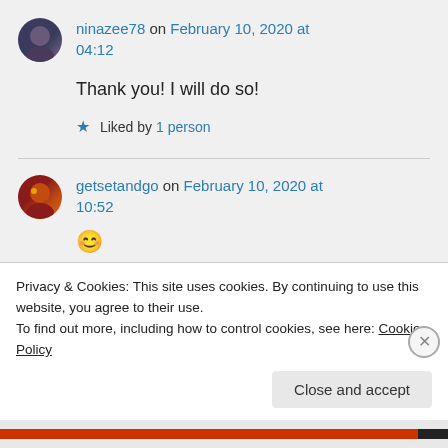ninazee78 on February 10, 2020 at 04:12
Thank you! I will do so!
★ Liked by 1 person
getsetandgo on February 10, 2020 at 10:52
Privacy & Cookies: This site uses cookies. By continuing to use this website, you agree to their use. To find out more, including how to control cookies, see here: Cookie Policy
Close and accept